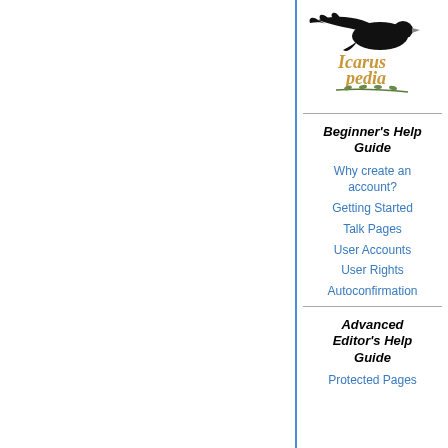[Figure (logo): Icaruspedia logo with a black winged bird and golden stylized text]
Beginner's Help Guide
Why create an account?
Getting Started
Talk Pages
User Accounts
User Rights
Autoconfirmation
Advanced Editor's Help Guide
Protected Pages